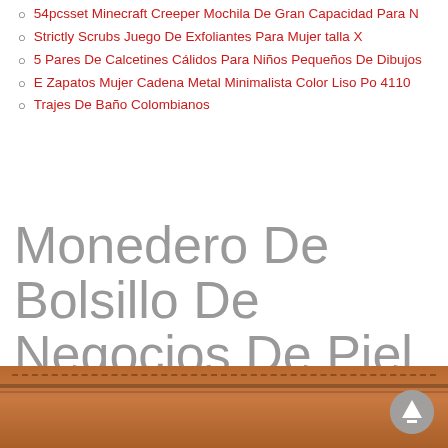54pcsset Minecraft Creeper Mochila De Gran Capacidad Para N
Strictly Scrubs Juego De Exfoliantes Para Mujer talla X
5 Pares De Calcetines Cálidos Para Niños Pequeños De Dibujos
E Zapatos Mujer Cadena Metal Minimalista Color Liso Po 4110
Trajes De Baño Colombianos
Monedero De Bolsillo De Negocios De Piel Sintética Para Homb
[Figure (photo): Bottom portion of a brown leather wallet/purse product photo]